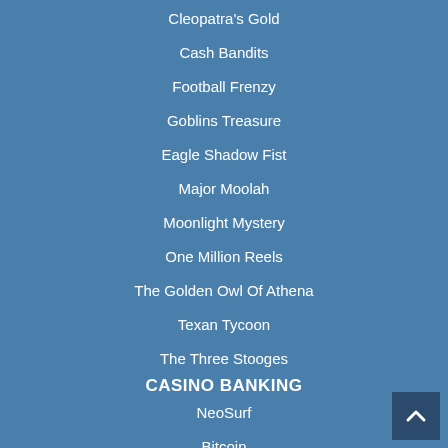Cleopatra's Gold
Cash Bandits
Football Frenzy
Goblins Treasure
Eagle Shadow Fist
Major Moolah
Moonlight Mystery
One Million Reels
The Golden Owl Of Athena
Texan Tycoon
The Three Stooges
CASINO BANKING
NeoSurf
Bitcoin
Credit Cards
MoneyGram
Banking Methods